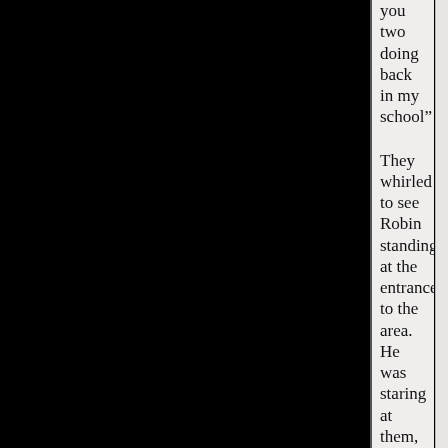“What are you two doing back in my school?”
They whirled to see Robin standing at the entrance to the area. He was staring at them, anger and curiosity clearly